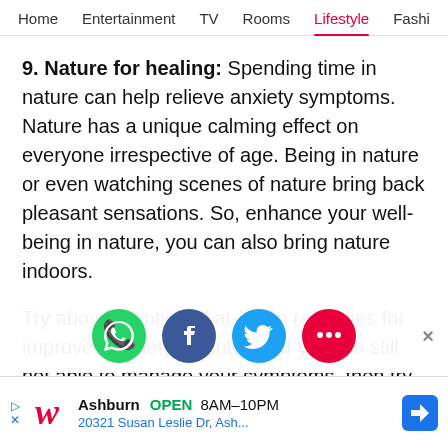Home  Entertainment  TV  Rooms  Lifestyle  Fashi
9. Nature for healing: Spending time in nature can help relieve anxiety symptoms. Nature has a unique calming effect on everyone irrespective of age. Being in nature or even watching scenes of nature bring back pleasant sensations. So, enhance your well-being in nature, you can also bring nature indoors.
Try above mentioned at-home remedies for improved anxiety symptoms. If you are still not able to manage your symptoms, then try to find a
[Figure (infographic): Social share buttons: WhatsApp (green), Facebook (dark blue), Twitter (light blue), Chat/More (pink/red). Close X button on right.]
[Figure (infographic): Advertisement banner: Walgreens logo, Ashburn OPEN 8AM-10PM, 20321 Susan Leslie Dr, Ash..., blue navigation arrow icon]